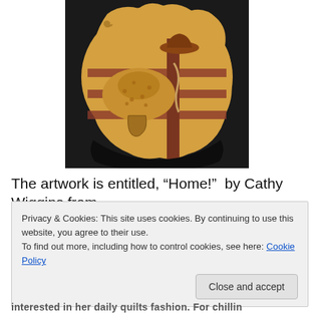[Figure (photo): A leather artwork piece showing a western saddle on a fence post with a cowboy hat, decorated with tooled leather patterns, displayed on a dark background.]
The artwork is entitled, “Home!”  by Cathy Wiggins from
Privacy & Cookies: This site uses cookies. By continuing to use this website, you agree to their use.
To find out more, including how to control cookies, see here: Cookie Policy
Close and accept
interested in her daily quilts fashion. For chillin